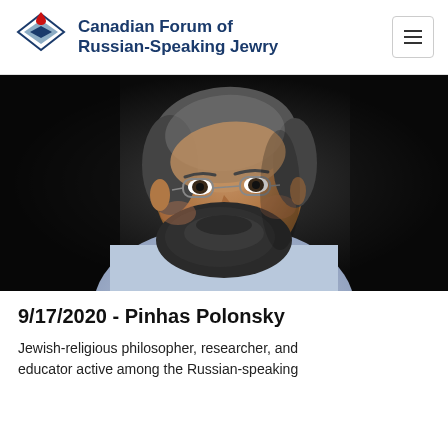Canadian Forum of Russian-Speaking Jewry
[Figure (photo): Portrait photo of Pinhas Polonsky, a bearded middle-aged man with glasses wearing a light blue shirt, shot against a dark background]
9/17/2020 - Pinhas Polonsky
Jewish-religious philosopher, researcher, and educator active among the Russian-speaking